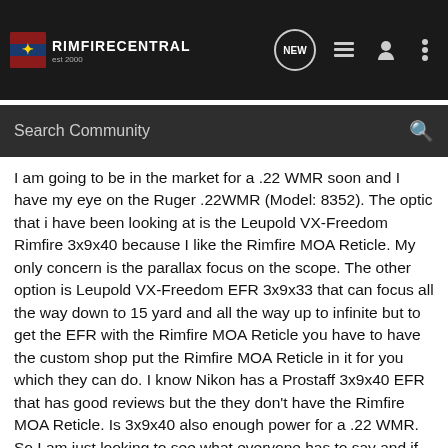RIMFIRECENTRAL
Search Community
I am going to be in the market for a .22 WMR soon and I have my eye on the Ruger .22WMR (Model: 8352). The optic that i have been looking at is the Leupold VX-Freedom Rimfire 3x9x40 because I like the Rimfire MOA Reticle. My only concern is the parallax focus on the scope. The other option is Leupold VX-Freedom EFR 3x9x33 that can focus all the way down to 15 yard and all the way up to infinite but to get the EFR with the Rimfire MOA Reticle you have to have the custom shop put the Rimfire MOA Reticle in it for you which they can do. I know Nikon has a Prostaff 3x9x40 EFR that has good reviews but the they don't have the Rimfire MOA Reticle. Is 3x9x40 also enough power for a .22 WMR. So I am just looking to see what everyone has to say and if you can lead me into the right direction. This Rifle will be used for Hunting/Target.